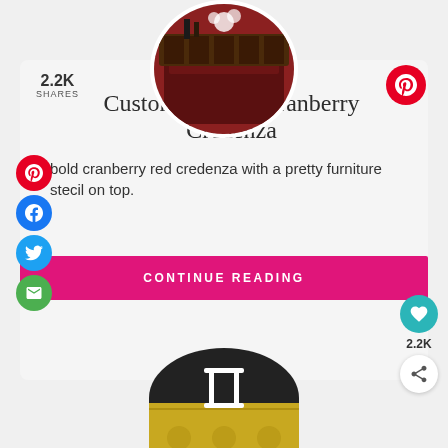[Figure (photo): Circular photo of a cranberry red credenza with decorative stencil on top]
Custom Painted Cranberry Credenza
bold cranberry red credenza with a pretty furniture stecil on top.
CONTINUE READING
[Figure (photo): Circular photo of a yellow/gold stenciled table with white chair]